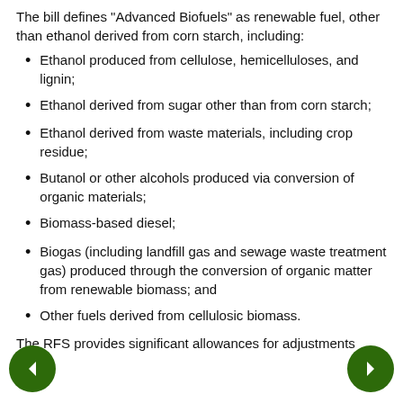The bill defines "Advanced Biofuels" as renewable fuel, other than ethanol derived from corn starch, including:
Ethanol produced from cellulose, hemicelluloses, and lignin;
Ethanol derived from sugar other than from corn starch;
Ethanol derived from waste materials, including crop residue;
Butanol or other alcohols produced via conversion of organic materials;
Biomass-based diesel;
Biogas (including landfill gas and sewage waste treatment gas) produced through the conversion of organic matter from renewable biomass; and
Other fuels derived from cellulosic biomass.
The RFS provides significant allowances for adjustments